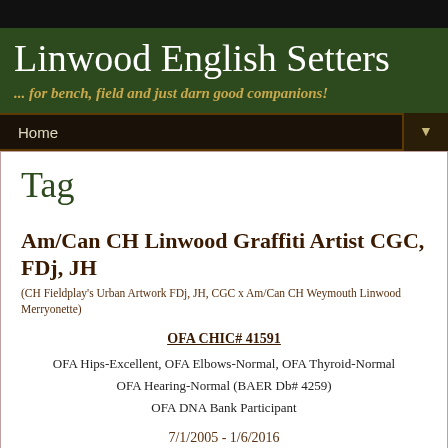Linwood English Setters
... for bench, field and just darn good companions!
Home
Tag
Am/Can CH Linwood Graffiti Artist CGC, FDj, JH
(CH Fieldplay's Urban Artwork FDj, JH, CGC x Am/Can CH Weymouth Linwood Merryonette)
OFA CHIC# 41591
OFA Hips-Excellent, OFA Elbows-Normal, OFA Thyroid-Normal
OFA Hearing-Normal (BAER Db# 4259)
OFA DNA Bank Participant
7/1/2005 - 1/6/2016